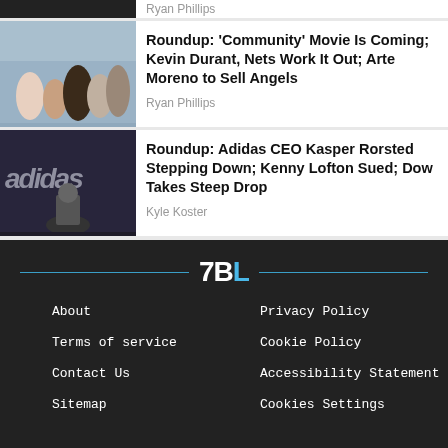[Figure (photo): Partial article card at top with dark image placeholder]
Ryan Phillips
[Figure (photo): Group photo of Community TV show cast]
Roundup: 'Community' Movie Is Coming; Kevin Durant, Nets Work It Out; Arte Moreno to Sell Angels
Ryan Phillips
[Figure (photo): Adidas logo with CEO Kasper Rorsted in foreground]
Roundup: Adidas CEO Kasper Rorsted Stepping Down; Kenny Lofton Sued; Dow Takes Steep Drop
Kyle Koster
About | Privacy Policy | Terms of service | Cookie Policy | Contact Us | Accessibility Statement | Sitemap | Cookies Settings